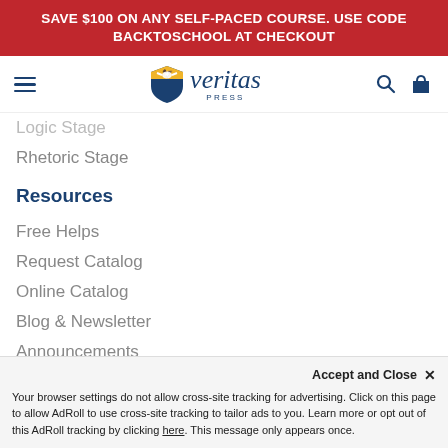SAVE $100 ON ANY SELF-PACED COURSE. USE CODE BACKTOSCHOOL AT CHECKOUT
[Figure (logo): Veritas Press logo with shield icon featuring an eagle and shield, with italic 'veritas' text and 'PRESS' below]
Logic Stage
Rhetoric Stage
Resources
Free Helps
Request Catalog
Online Catalog
Blog & Newsletter
Announcements
Employment
Accept and Close ✕
Your browser settings do not allow cross-site tracking for advertising. Click on this page to allow AdRoll to use cross-site tracking to tailor ads to you. Learn more or opt out of this AdRoll tracking by clicking here. This message only appears once.